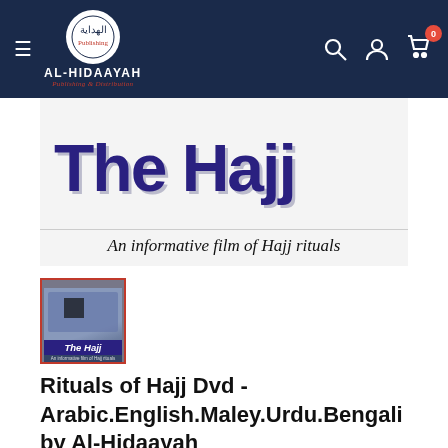AL-HIDAAYAH Publishing & Distribution
[Figure (photo): Product main image showing 'The Hajj' DVD cover with large purple/blue text reading 'The Hajj' and subtitle 'An informative film of Hajj rituals']
[Figure (photo): Thumbnail of The Hajj DVD product cover with red border]
Rituals of Hajj Dvd - Arabic.English.Maley.Urdu.Bengali by Al-Hidaayah